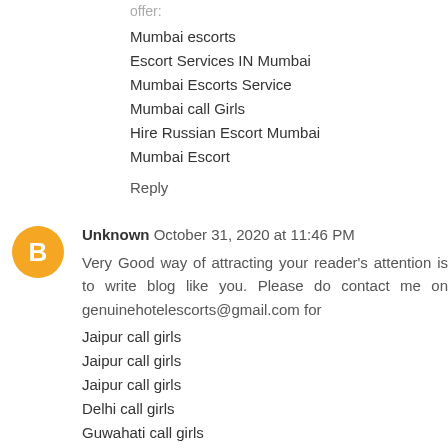offer:
Mumbai escorts
Escort Services IN Mumbai
Mumbai Escorts Service
Mumbai call Girls
Hire Russian Escort Mumbai
Mumbai Escort
Reply
Unknown  October 31, 2020 at 11:46 PM
Very Good way of attracting your reader's attention is to write blog like you. Please do contact me on genuinehotelescorts@gmail.com for
Jaipur call girls
Jaipur call girls
Jaipur call girls
Delhi call girls
Guwahati call girls
Guwahati call girls
Guwahati call girls
Guwahati call girls